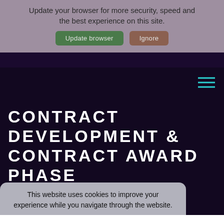Update your browser for more security, speed and the best experience on this site.
[Figure (screenshot): Two buttons: 'Update browser' (green) and 'Ignore' (brown/red)]
CONTRACT DEVELOPMENT & CONTRACT AWARD PHASE
This website uses cookies to improve your experience while you navigate through the website.